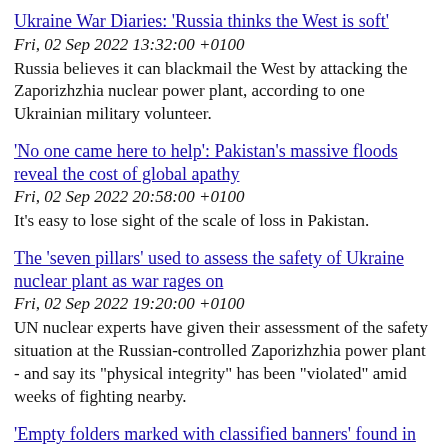Ukraine War Diaries: 'Russia thinks the West is soft'
Fri, 02 Sep 2022 13:32:00 +0100
Russia believes it can blackmail the West by attacking the Zaporizhzhia nuclear power plant, according to one Ukrainian military volunteer.
'No one came here to help': Pakistan's massive floods reveal the cost of global apathy
Fri, 02 Sep 2022 20:58:00 +0100
It's easy to lose sight of the scale of loss in Pakistan.
The 'seven pillars' used to assess the safety of Ukraine nuclear plant as war rages on
Fri, 02 Sep 2022 19:20:00 +0100
UN nuclear experts have given their assessment of the safety situation at the Russian-controlled Zaporizhzhia power plant - and say its "physical integrity" has been "violated" amid weeks of fighting nearby.
'Empty folders marked with classified banners' found in raid on Trump's Mar-a-Lago home
Fri, 02 Sep 2022 16:15:00 +0100
FBI agents found empty folders marked with classified banners among more than 11,000 government documents and photographs when they searched Donald Trump's Mar-a-Lago home.